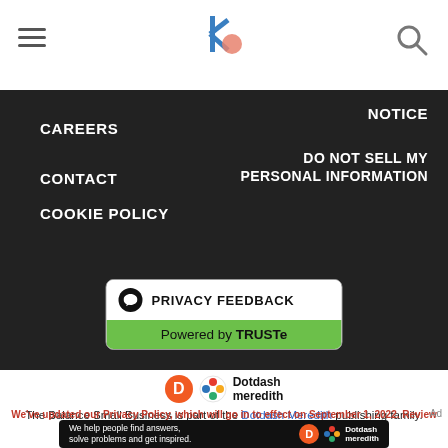The Balance Small Business - navigation header with logo
CAREERS
NOTICE
CONTACT
DO NOT SELL MY PERSONAL INFORMATION
COOKIE POLICY
[Figure (logo): Privacy Feedback powered by TRUSTe badge]
[Figure (logo): Dotdash Meredith logo]
The Balance Small Business is part of the Dotdash Meredith publishing family.
We've updated our Privacy Policy, which will go in to effect on September 1, 2022. Review our Privacy Policy
[Figure (infographic): Dotdash Meredith ad banner: We help people find answers, solve problems and get inspired.]